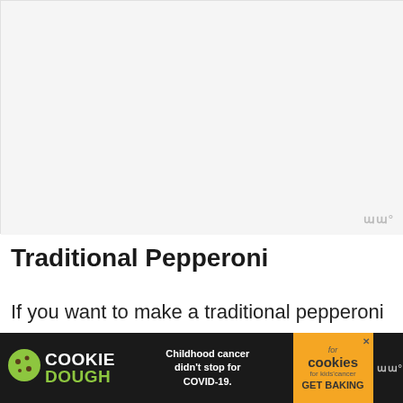[Figure (photo): Large image placeholder area, light gray background, with WW logo watermark in bottom right corner]
Traditional Pepperoni
If you want to make a traditional pepperoni pizza with this chicken base, just add your regular toppings – keto pizza sauce me... n think
[Figure (infographic): Advertisement banner: Cookie Dough brand ad — Childhood cancer didn't stop for COVID-19. Cookies for kids cancer GET BAKING. With WW logo.]